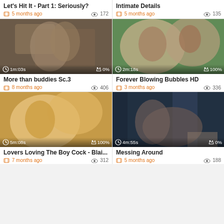Let's Hit It - Part 1: Seriously?
5 months ago  172
[Figure (photo): Video thumbnail - More than buddies Sc.3, 1m:03s, 0%]
More than buddies Sc.3
8 months ago  406
Intimate Details
5 months ago  135
[Figure (photo): Video thumbnail - Forever Blowing Bubbles HD, 2m:18s, 100%]
Forever Blowing Bubbles HD
3 months ago  336
[Figure (photo): Video thumbnail - Lovers Loving The Boy Cock - Blai..., 5m:08s, 100%]
Lovers Loving The Boy Cock - Blai...
7 months ago  312
[Figure (photo): Video thumbnail - Messing Around, 4m:55s, 0%]
Messing Around
5 months ago  188